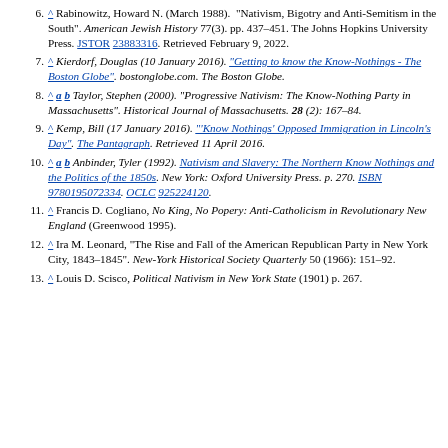6. ^ Rabinowitz, Howard N. (March 1988). "Nativism, Bigotry and Anti-Semitism in the South". American Jewish History 77(3). pp. 437–451. The Johns Hopkins University Press. JSTOR 23883316. Retrieved February 9, 2022.
7. ^ Kierdorf, Douglas (10 January 2016). "Getting to know the Know-Nothings - The Boston Globe". bostonglobe.com. The Boston Globe.
8. ^ a b Taylor, Stephen (2000). "Progressive Nativism: The Know-Nothing Party in Massachusetts". Historical Journal of Massachusetts. 28 (2): 167–84.
9. ^ Kemp, Bill (17 January 2016). "'Know Nothings' Opposed Immigration in Lincoln's Day". The Pantagraph. Retrieved 11 April 2016.
10. ^ a b Anbinder, Tyler (1992). Nativism and Slavery: The Northern Know Nothings and the Politics of the 1850s. New York: Oxford University Press. p. 270. ISBN 9780195072334. OCLC 925224120.
11. ^ Francis D. Cogliano, No King, No Popery: Anti-Catholicism in Revolutionary New England (Greenwood 1995).
12. ^ Ira M. Leonard, "The Rise and Fall of the American Republican Party in New York City, 1843–1845". New-York Historical Society Quarterly 50 (1966): 151–92.
13. ^ Louis D. Scisco, Political Nativism in New York State (1901) p. 267.